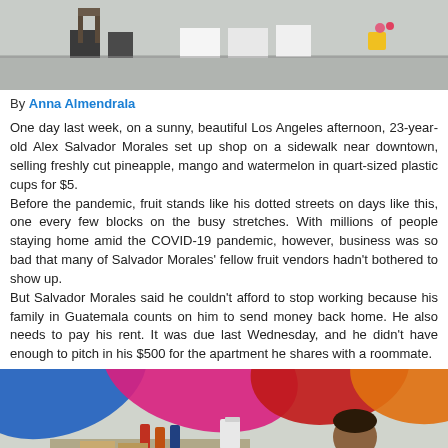[Figure (photo): Outdoor sidewalk scene showing items laid out on the ground, possibly a vendor's setup with boxes and a yellow bucket visible]
By Anna Almendrala
One day last week, on a sunny, beautiful Los Angeles afternoon, 23-year-old Alex Salvador Morales set up shop on a sidewalk near downtown, selling freshly cut pineapple, mango and watermelon in quart-sized plastic cups for $5. Before the pandemic, fruit stands like his dotted streets on days like this, one every few blocks on the busy stretches. With millions of people staying home amid the COVID-19 pandemic, however, business was so bad that many of Salvador Morales' fellow fruit vendors hadn't bothered to show up. But Salvador Morales said he couldn't afford to stop working because his family in Guatemala counts on him to send money back home. He also needs to pay his rent. It was due last Wednesday, and he didn't have enough to pitch in his $500 for the apartment he shares with a roommate.
[Figure (photo): Street vendor under colorful umbrellas (blue, pink/magenta, red, orange) with cups and condiments on display; a man visible on the right side]